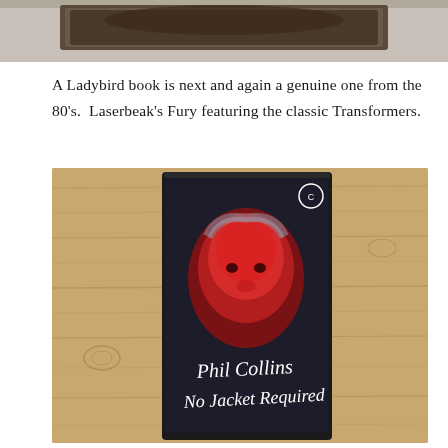[Figure (photo): Partial image of an item at the top of the page, cropped — only the bottom edge visible against a white background.]
A Ladybird book is next and again a genuine one from the 80's.  Laserbeak's Fury featuring the classic Transformers.
[Figure (photo): A photo of a Phil Collins 'No Jacket Required' cassette tape lying on a wooden surface. The cassette cover shows a man's face lit in red tones with the text 'Phil Collins No Jacket Required' in handwritten white lettering.]